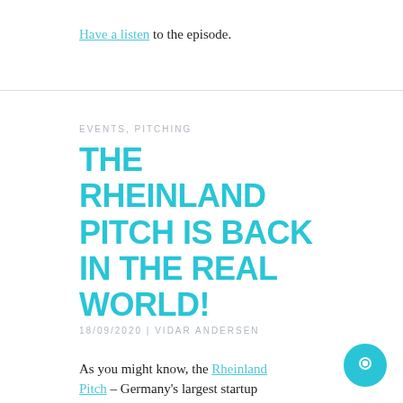Have a listen to the episode.
EVENTS, PITCHING
THE RHEINLAND PITCH IS BACK IN THE REAL WORLD!
18/09/2020 | VIDAR ANDERSEN
As you might know, the Rheinland Pitch – Germany's largest startup